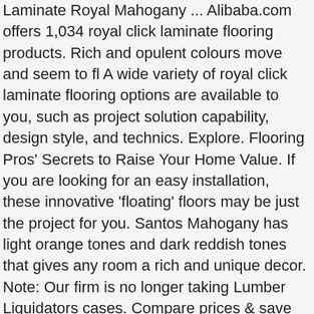Laminate Royal Mahogany ... Alibaba.com offers 1,034 royal click laminate flooring products. Rich and opulent colours move and seem to fl A wide variety of royal click laminate flooring options are available to you, such as project solution capability, design style, and technics. Explore. Flooring Pros' Secrets to Raise Your Home Value. If you are looking for an easy installation, these innovative 'floating' floors may be just the project for you. Santos Mahogany has light orange tones and dark reddish tones that gives any room a rich and unique decor. Note: Our firm is no longer taking Lumber Liquidators cases. Compare prices & save money on Flooring Supplies. Our goal at Flooring.org is to be your #1 source for ALL things flooring on the internet. Home; Our Work; Services; Reviews; Products. Home Decor. Hot Sale Royal Mahogany 12mm Laminate Flooring , Find Complete Details about Hot Sale Royal Mahogany 12mm Laminate Flooring,12mm Laminate Flooring,Mahogany Laminate Flooring,Hot Sale Laminate Flooring from Engineered Flooring Supplier or Manufacturer-Chiping New